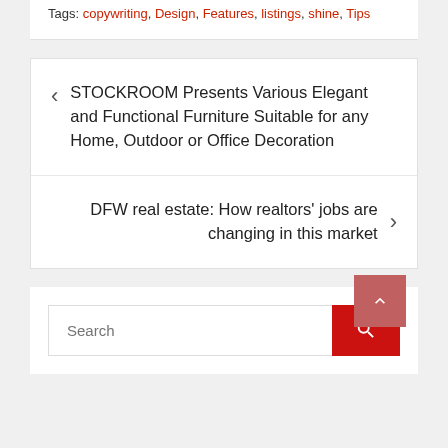Tags: copywriting, Design, Features, listings, shine, Tips
STOCKROOM Presents Various Elegant and Functional Furniture Suitable for any Home, Outdoor or Office Decoration
DFW real estate: How realtors' jobs are changing in this market